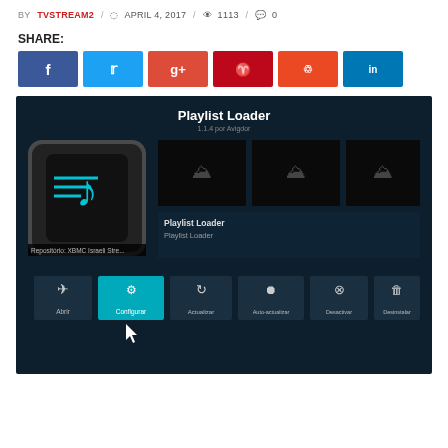BY TVSTREAM2 / APRIL 4, 2017 / 1113 / 0
SHARE:
[Figure (screenshot): Kodi media player interface showing Playlist Loader addon page with icon, thumbnails, info panel, and action buttons (Abrir, Configurar, Actualizar, Auto-actualizar, Desactivar, Desinstalar). Repository: XBMC Israeli Stre...]
Playlist Loader 1.1.4 por Avigdor